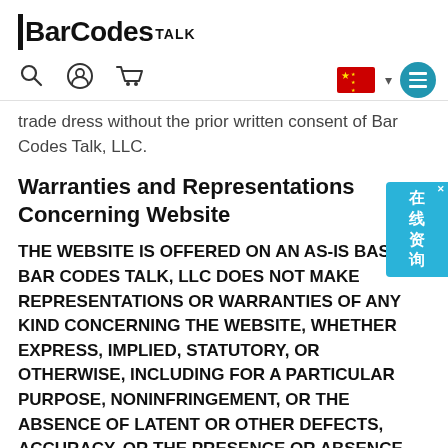BarCodes TALK
trade dress without the prior written consent of Bar Codes Talk, LLC.
Warranties and Representations Concerning Website
THE WEBSITE IS OFFERED ON AN AS-IS BASIS. BAR CODES TALK, LLC DOES NOT MAKE REPRESENTATIONS OR WARRANTIES OF ANY KIND CONCERNING THE WEBSITE, WHETHER EXPRESS, IMPLIED, STATUTORY, OR OTHERWISE, INCLUDING FOR A PARTICULAR PURPOSE, NONINFRINGEMENT, OR THE ABSENCE OF LATENT OR OTHER DEFECTS, ACCURACY, OR THE PRESENCE OR ABSENCE OF ERRORS